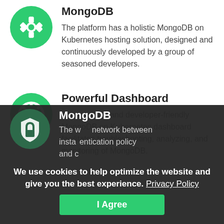[Figure (illustration): Green circle with white gear/settings icon]
MongoDB
The platform has a holistic MongoDB on Kubernetes hosting solution, designed and continuously developed by a group of seasoned developers.
[Figure (illustration): Green circle with white dashboard/speedometer icon]
Powerful Dashboard
The powerful and developer-friendly MongoDB on Kubernetes dashboard facilitates troubleshooting, analyzing, and monitoring of MongoDB.
We use cookies to help optimize the website and give you the best experience. Privacy Policy
[Figure (illustration): Dark green circle with white shield/lock icon]
MongoDB
The w[...] network between insta[...] entication policy and c[...]